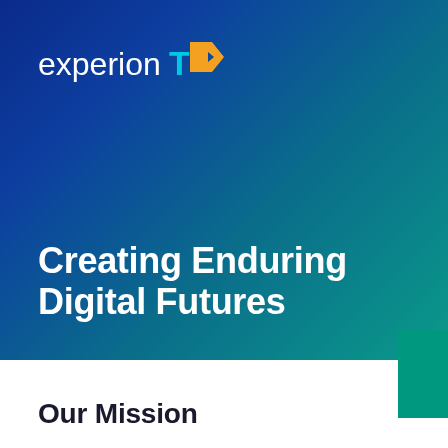[Figure (logo): ExperionTX logo in white and teal/orange on blue gradient background]
Creating Enduring Digital Futures
Our Mission